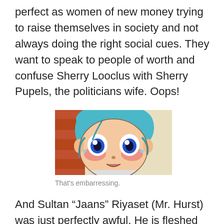perfect as women of new money trying to raise themselves in society and not always doing the right social cues. They want to speak to people of worth and confuse Sherry Looclus with Sherry Pupels, the politicians wife. Oops!
[Figure (illustration): Anime character with blue hair and wide blue eyes, blushing with a red nose, surprised expression, close-up face shot]
That's embarressing.
And Sultan “Jaans” Riyaset (Mr. Hurst) was just perfectly awful. He is fleshed out more here than the just the food...